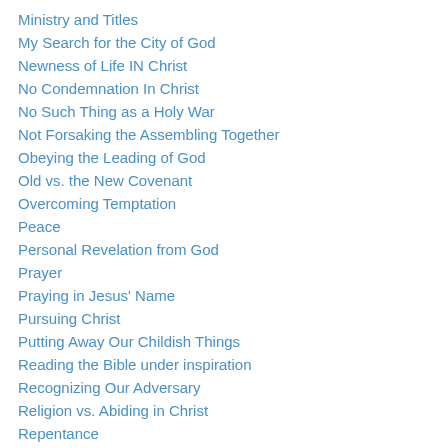Ministry and Titles
My Search for the City of God
Newness of Life IN Christ
No Condemnation In Christ
No Such Thing as a Holy War
Not Forsaking the Assembling Together
Obeying the Leading of God
Old vs. the New Covenant
Overcoming Temptation
Peace
Personal Revelation from God
Prayer
Praying in Jesus' Name
Pursuing Christ
Putting Away Our Childish Things
Reading the Bible under inspiration
Recognizing Our Adversary
Religion vs. Abiding in Christ
Repentance
Revelation